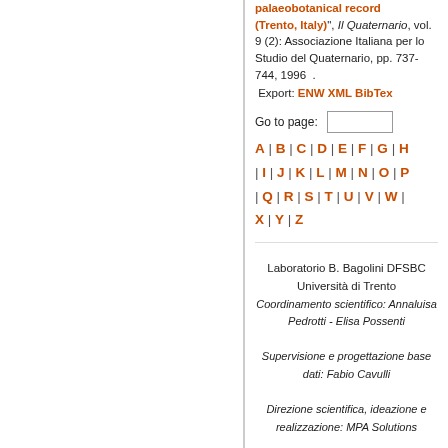palaeobotanical record (Trento, Italy)", Il Quaternario, vol. 9 (2): Associazione Italiana per lo Studio del Quaternario, pp. 737-744, 1996 .
Export: ENW XML BibTex
Go to page:
A | B | C | D | E | F | G | H | I | J | K | L | M | N | O | P | Q | R | S | T | U | V | W | X | Y | Z
Laboratorio B. Bagolini DFSBC
Università di Trento
Coordinamento scientifico: Annaluisa Pedrotti - Elisa Possenti
Supervisione e progettazione base dati: Fabio Cavulli
Direzione scientifica, ideazione e realizzazione: MPA Solutions